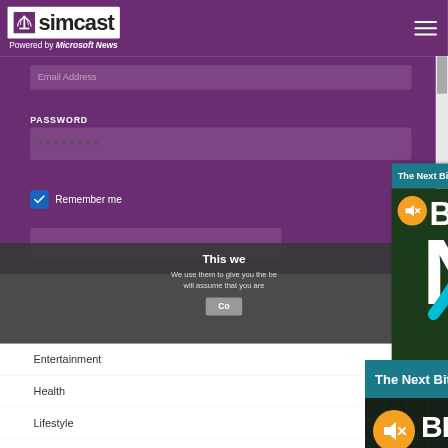[Figure (screenshot): Simcast website header with logo, 'Powered by Microsoft News' tagline, and hamburger menu on purple background]
[Figure (screenshot): Login form with Email Address input field, PASSWORD label and password field with dots, Remember me checkbox, on purple background]
[Figure (screenshot): Cookie consent banner overlay with dark background saying 'This we...' and 'We use them to give you the be... will assume that you are...' with Continue button]
[Figure (screenshot): Bitcoin ad popup with teal header 'The Next Bitcoin Explosion', X close button, and dark green video frame showing text BITCOIN'S NEXT BIG EXPLOSION with muted speaker icon]
Entertainment
Health
Lifestyle
Money